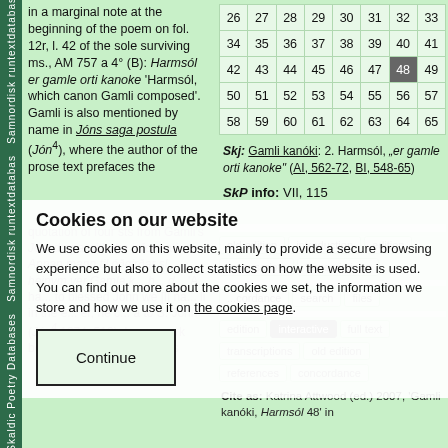in a marginal note at the beginning of the poem on fol. 12r, l. 42 of the sole surviving ms., AM 757 a 4° (B): Harmsól er gamle orti kanoke 'Harmsól, which canon Gamli composed'. Gamli is also mentioned by name in Jóns saga postula (Jón⁴), where the author of the prose text prefaces the quotation of four sts from Gamli's Jonsdrapa with the information: Annan mann til óðgirðar sl... heinvm ver Gamla k... b... d... 'A... ha... to blessed John we [l] na... li in the e... er, he c... a to S. John' (Jón⁴ 1874, 510). In a remark before the fourth st. Gamli is referred to as...
| 26 | 27 | 28 | 29 | 30 | 31 | 32 | 33 |
| 34 | 35 | 36 | 37 | 38 | 39 | 40 | 41 |
| 42 | 43 | 44 | 45 | 46 | 47 | 48 | 49 |
| 50 | 51 | 52 | 53 | 54 | 55 | 56 | 57 |
| 58 | 59 | 60 | 61 | 62 | 63 | 64 | 65 |
Skj: Gamli kanóki: 2. Harmsól, „er gamle orti kanoke" (AI, 562-72, BI, 548-65)
SkP info: VII, 115
Cookies on our website
We use cookies on this website, mainly to provide a secure browsing experience but also to collect statistics on how the website is used. You can find out more about the cookies we set, the information we store and how we use it on the cookies page.
Continue
edition   interactive   full text   transcriptions   old edition   references   concordance
Cite as: Katrina Attwood (ed.) 2007, 'Gamli kanóki, Harmsól 48' in